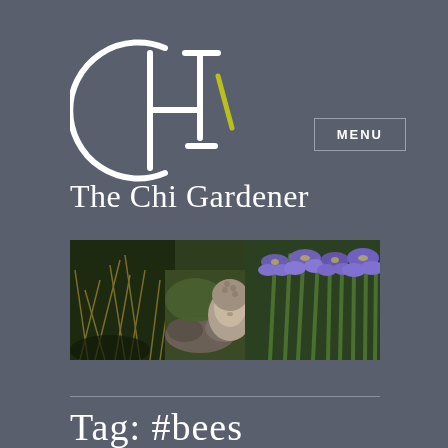[Figure (logo): Chi Gardener logo: stylized CHI characters in white with a yellow-green accent stroke, inside a partial circle arc]
The Chi Gardener
MENU
[Figure (photo): Wide panoramic garden photo showing ornamental grasses, a stone Buddha head sculpture, purple iris flowers, and lush green foliage]
Tag: #bees